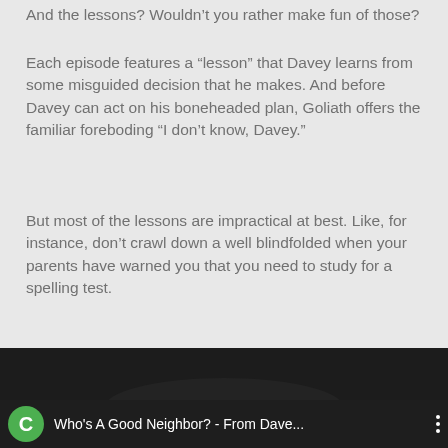And the lessons? Wouldn't you rather make fun of those?
Each episode features a “lesson” that Davey learns from some misguided decision that he makes. And before Davey can act on his boneheaded plan, Goliath offers the familiar foreboding “I don’t know, Davey.”
But most of the lessons are impractical at best. Like, for instance, don’t crawl down a well blindfolded when your parents have warned you that you need to study for a spelling test.
Huh?
Exactly.
[Figure (screenshot): YouTube video bar showing a video titled 'Who's A Good Neighbor? - From Dave...' with a green channel icon showing the letter C, on a dark background with a three-dot menu icon.]